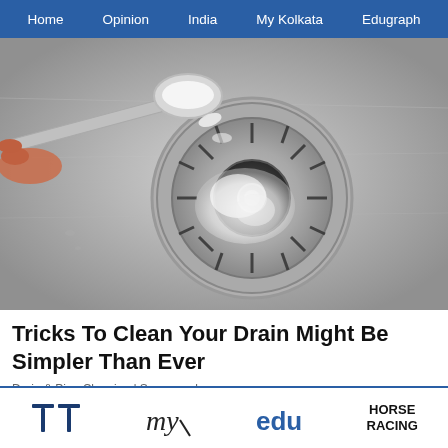Home  Opinion  India  My Kolkata  Edugraph
[Figure (photo): A metal spoon pouring white powder (baking soda) into a stainless steel kitchen sink drain with fizzing/bubbling.]
Tricks To Clean Your Drain Might Be Simpler Than Ever
Drain & Pipe Cleaning | Sponsored
TT  my  edu  HORSE RACING